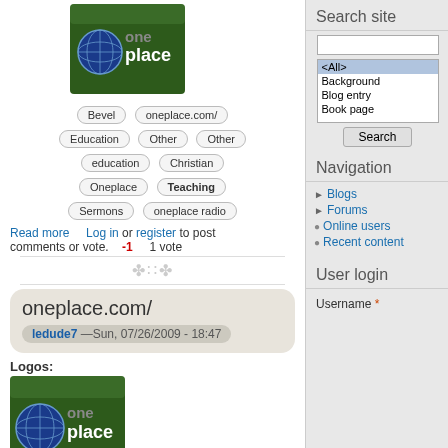[Figure (logo): oneplace logo — globe with 'one' and 'place' text on dark green background]
Bevel | oneplace.com/
Education | Other | Other
education | Christian
Oneplace | Teaching
Sermons | oneplace radio
Read more   Log in or register to post comments or vote.   -1   1 vote
oneplace.com/
ledude7 —Sun, 07/26/2009 - 18:47
Logos:
[Figure (logo): oneplace logo — globe with 'one' and 'place' text on dark green background]
Bevel | oneplace.com/
Search site
<All>
Background
Blog entry
Book page
Search
Navigation
Blogs
Forums
Online users
Recent content
User login
Username *